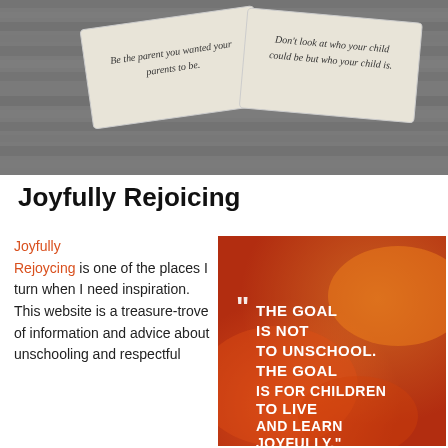[Figure (photo): Photo of paper cards on a wooden surface with parenting/unschooling quotes. One card reads 'Be the parent you wanted your parents to be.' Another reads 'Don't look at who your child could be but who your child is.']
Joyfully Rejoicing
Joyfully Rejoycing is one of the places I turn when I need inspiration. This website is a treasure-trove of information and advice about unschooling and respectful
[Figure (photo): Motivational image with orange/red blurred background and white bold text quote: 'THE GOAL IS NOT TO UNSCHOOL. THE GOAL IS FOR CHILDREN TO LIVE AND LEARN JOYFULLY.' Attributed to Joyce Fetterol at the bottom.]